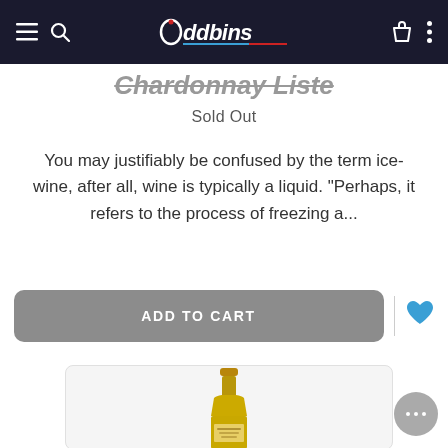Oddbins navigation bar
Chardonnay Liste
Sold Out
You may justifiably be confused by the term ice-wine, after all, wine is typically a liquid. “Perhaps, it refers to the process of freezing a...
[Figure (screenshot): ADD TO CART button (grey rounded rectangle) with a blue heart icon and divider line]
[Figure (photo): Champagne/wine bottle (gold foil neck, dark green bottle) shown from the top portion, on a light grey card background]